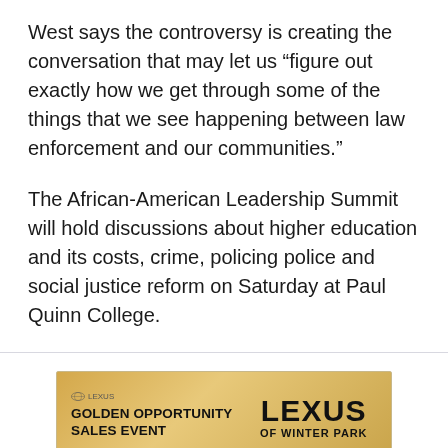West says the controversy is creating the conversation that may let us “figure out exactly how we get through some of the things that we see happening between law enforcement and our communities.”
The African-American Leadership Summit will hold discussions about higher education and its costs, crime, policing police and social justice reform on Saturday at Paul Quinn College.
[Figure (other): Lexus Golden Opportunity Sales Event advertisement banner for Lexus of Winter Park]
Latest News